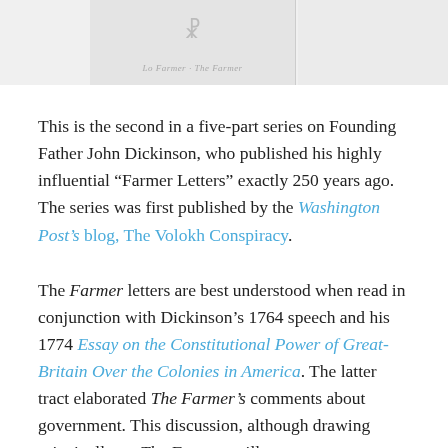[Figure (photo): Two faded book or document cover images side by side at the top of the page, partially cropped.]
This is the second in a five-part series on Founding Father John Dickinson, who published his highly influential “Farmer Letters” exactly 250 years ago. The series was first published by the Washington Post’s blog, The Volokh Conspiracy.
The Farmer letters are best understood when read in conjunction with Dickinson’s 1764 speech and his 1774 Essay on the Constitutional Power of Great-Britain Over the Colonies in America. The latter tract elaborated The Farmer’s comments about government. This discussion, although drawing principally on The Farmer, will